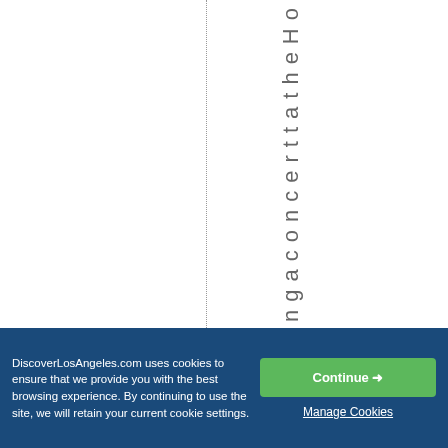ngaconcerttatheHo
DiscoverLosAngeles.com uses cookies to ensure that we provide you with the best browsing experience. By continuing to use the site, we will retain your current cookie settings.
Continue →
Manage Cookies